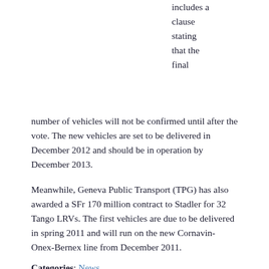includes a clause stating that the final number of vehicles will not be confirmed until after the vote. The new vehicles are set to be delivered in December 2012 and should be in operation by December 2013.
Meanwhile, Geneva Public Transport (TPG) has also awarded a SFr 170 million contract to Stadler for 32 Tango LRVs. The first vehicles are due to be delivered in spring 2011 and will run on the new Cornavin-Onex-Bernex line from December 2011.
Categories: News
Tags: